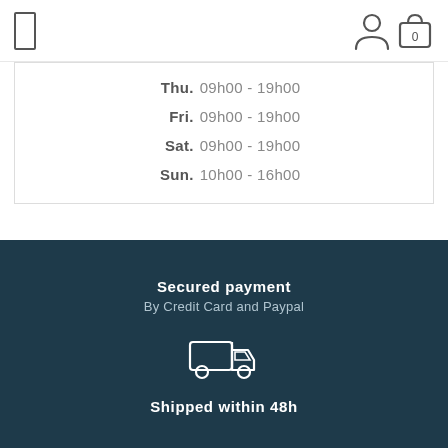Navigation bar with menu icon and user/cart icons
Thu. 09h00 - 19h00
Fri. 09h00 - 19h00
Sat. 09h00 - 19h00
Sun. 10h00 - 16h00
Secured payment
By Credit Card and Paypal
[Figure (illustration): Delivery truck icon (outline style, white on dark background)]
Shipped within 48h